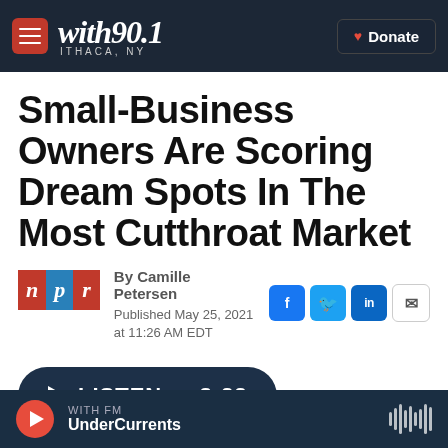with90.1 ITHACA, NY — Donate
Small-Business Owners Are Scoring Dream Spots In The Most Cutthroat Market
By Camille Petersen
Published May 25, 2021 at 11:26 AM EDT
LISTEN • 3:22
WITH FM UnderCurrents